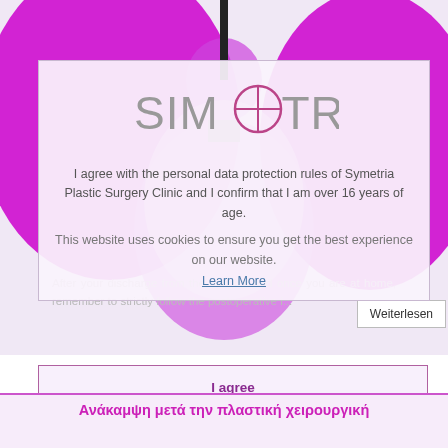[Figure (illustration): Purple/magenta stylized human figure (body silhouette) on light lavender background, top portion of page behind the consent overlay. Black vertical line at top center.]
[Figure (logo): SIMETRIA logo in grey text with circular icon replacing the letter O/E, inside the cookie consent overlay box]
I agree with the personal data protection rules of Symetria Plastic Surgery Clinic and I confirm that I am over 16 years of age.
This website uses cookies to ensure you get the best experience on our website.
Learn More
After your discharge from the hospital and once you are at home, remember to strictly follow the postoperative i...
Weiterlesen
I agree
Ανάκαμψη μετά την πλαστική χειρουργική